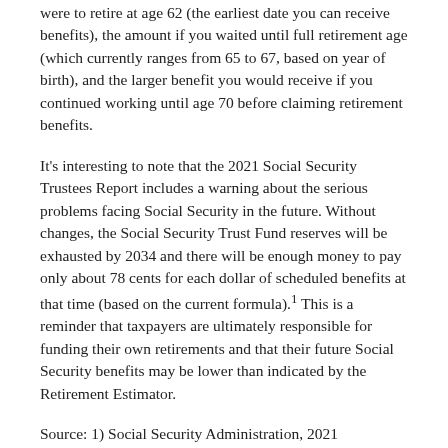were to retire at age 62 (the earliest date you can receive benefits), the amount if you waited until full retirement age (which currently ranges from 65 to 67, based on year of birth), and the larger benefit you would receive if you continued working until age 70 before claiming retirement benefits.
It's interesting to note that the 2021 Social Security Trustees Report includes a warning about the serious problems facing Social Security in the future. Without changes, the Social Security Trust Fund reserves will be exhausted by 2034 and there will be enough money to pay only about 78 cents for each dollar of scheduled benefits at that time (based on the current formula).¹ This is a reminder that taxpayers are ultimately responsible for funding their own retirements and that their future Social Security benefits may be lower than indicated by the Retirement Estimator.
Source: 1) Social Security Administration, 2021